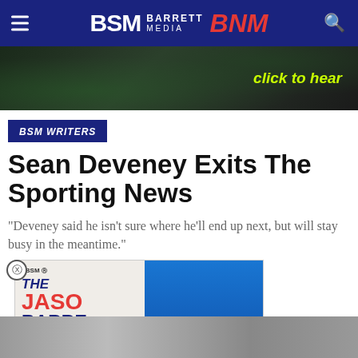BSM BARRETT MEDIA BNM
[Figure (photo): Dark banner background with silhouetted figures and 'click to hear' text in yellow-green]
BSM WRITERS
Sean Deveney Exits The Sporting News
"Deveney said he isn't sure where he'll end up next, but will stay busy in the meantime."
[Figure (infographic): The Jason Barrett Podcast ad card alongside Paul Finebaum image with text 'PAUL FINEBAUM KNOWS THE POWER OF THE LISTENERS']
June 4, 2019
[Figure (photo): Bottom portion of a photo, partially cut off]